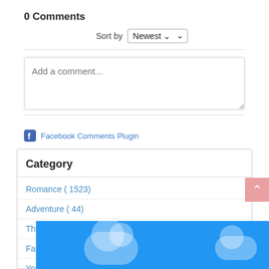0 Comments
Sort by Newest
[Figure (screenshot): Comment input box with placeholder text 'Add a comment...']
Facebook Comments Plugin
Category
Romance ( 1523)
Adventure ( 44)
Thriller ( 174)
Fantasy ( 1691)
Young
Myste